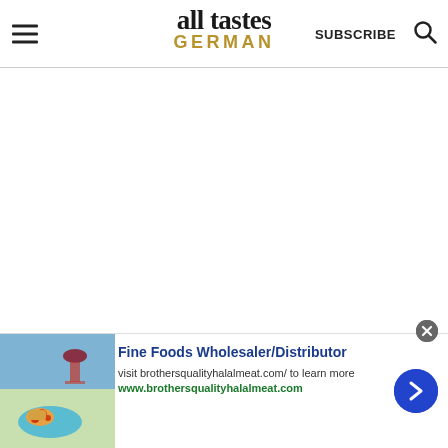all tastes GERMAN | SUBSCRIBE
[Figure (screenshot): Blank white main content area of the All Tastes German website]
[Figure (infographic): Advertisement for Fine Foods Wholesaler/Distributor - brothersqualityhalalmeat.com, showing food and wine image on left, blue arrow button on right]
Fine Foods Wholesaler/Distributor
visit brothersqualityhalalmeat.com/ to learn more
www.brothersqualityhalalmeat.com